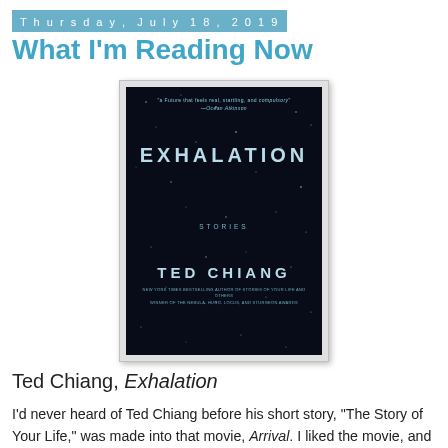Thursday, July 18, 2019
What I'm Reading Now
[Figure (photo): Book cover of 'Exhalation: Stories' by Ted Chiang — dark navy/black cover with scattered star-like white dots, title 'EXHALATION' in large light blue spaced letters, 'STORIES' below in smaller spaced letters, author name 'TED CHIANG' near bottom in large light blue spaced letters, with small blurb text at top and bottom.]
Ted Chiang, Exhalation
I'd never heard of Ted Chiang before his short story, "The Story of Your Life," was made into that movie, Arrival. I liked the movie, and so I got the story collection that story was in, and liked it very much. This is his new story collection, and I like it even better.